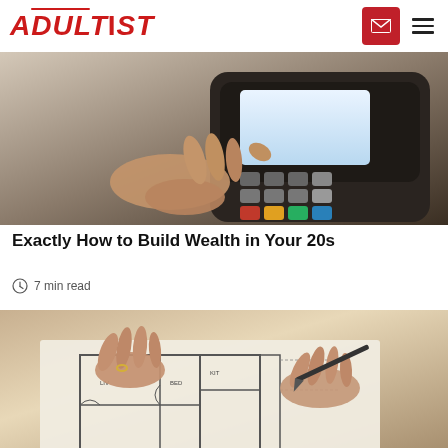ADULTIST
[Figure (photo): Close-up of a hand using a card payment terminal / POS device with colorful keys]
Exactly How to Build Wealth in Your 20s
7 min read
[Figure (photo): Two people reviewing architectural blueprint drawings on a table, one holding a pen]